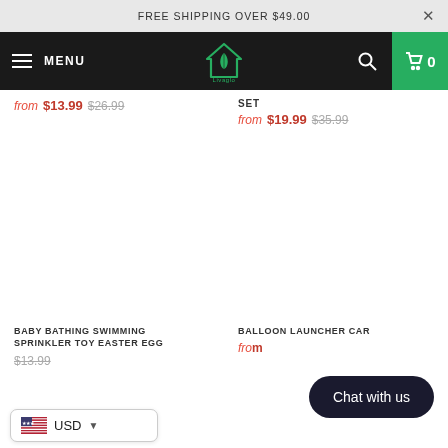FREE SHIPPING OVER $49.00
MENU | Logo | Search | Cart 0
from $13.99 $26.99
SET
from $19.99 $35.99
BABY BATHING SWIMMING SPRINKLER TOY EASTER EGG
$13.99
BALLOON LAUNCHER CAR
from
USD
Chat with us